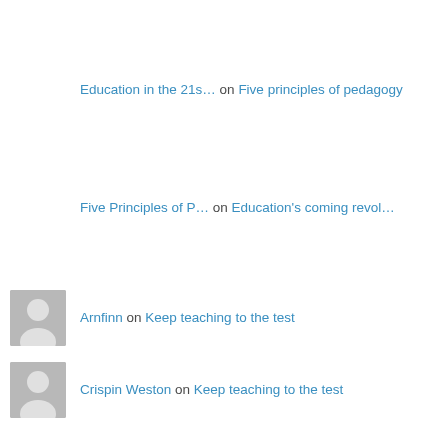Education in the 21s… on Five principles of pedagogy
Five Principles of P… on Education's coming revol…
Arnfinn on Keep teaching to the test
Crispin Weston on Keep teaching to the test
Arnfinn Redse on Keep teaching to the test
Education in the 21s… on Five principles of pedagogy
Crispin Weston on Good lord! Where's the d…
testandtrackcomputer… on Good lord! Where's the d…